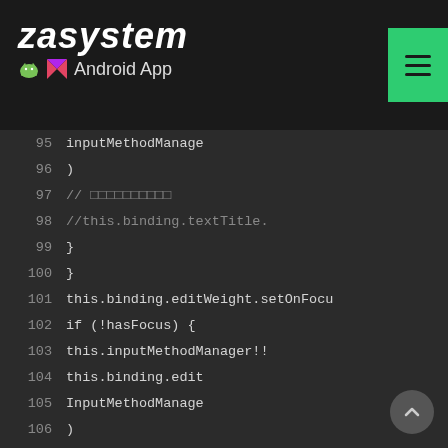ZAsystem Android App
[Figure (screenshot): Android Studio code editor showing Kotlin source code, lines 95–119, with setOnFocusChangeListener patterns for editWeight and editAge fields, with inputMethodManager and binding references, on a dark theme background.]